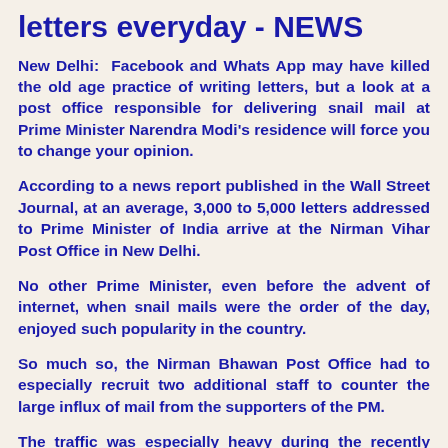letters everyday - NEWS
New Delhi:  Facebook and Whats App may have killed the old age practice of writing letters, but a look at a post office responsible for delivering snail mail at Prime Minister Narendra Modi's residence will force you to change your opinion.
According to a news report published in the Wall Street Journal, at an average, 3,000 to 5,000 letters addressed to Prime Minister of India arrive at the Nirman Vihar Post Office in New Delhi.
No other Prime Minister, even before the advent of internet, when snail mails were the order of the day, enjoyed such popularity in the country.
So much so, the Nirman Bhawan Post Office had to especially recruit two additional staff to counter the large influx of mail from the supporters of the PM.
The traffic was especially heavy during the recently concluded fective season, when people from across the